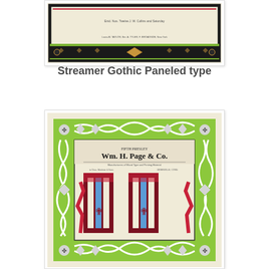[Figure (illustration): Top portion of a decorative typographic specimen showing an ornate frame with black and red borders, green accents, gold diamond ornament in center, and small text lines above and below the frame on a cream background.]
Streamer Gothic Paneled type
[Figure (illustration): Lower decorative typographic specimen showing Wm. H. Page & Co. letterhead with an ornate green and white interlaced border frame. Inside the frame are large display letters/characters in dark maroon/red with blue and white accents, on a cream background. The letters appear to be a demonstration of 'Streamer Gothic Paneled' typeface.]